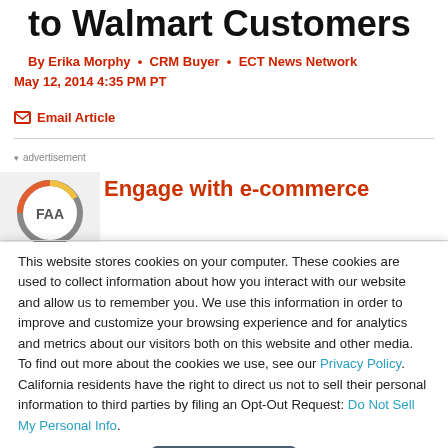to Walmart Customers
By Erika Morphy • CRM Buyer • ECT News Network
May 12, 2014 4:35 PM PT
✉ Email Article
▾ advertisement
[Figure (logo): Circular logo with FAA text]
Engage with e-commerce
This website stores cookies on your computer. These cookies are used to collect information about how you interact with our website and allow us to remember you. We use this information in order to improve and customize your browsing experience and for analytics and metrics about our visitors both on this website and other media. To find out more about the cookies we use, see our Privacy Policy. California residents have the right to direct us not to sell their personal information to third parties by filing an Opt-Out Request: Do Not Sell My Personal Info.
Accept